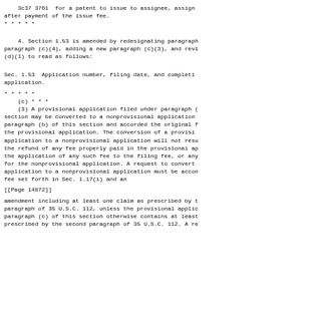3c37 3761  for a patent to issue to assignee, assign after payment of the issue fee.
* * * * *
4. Section 1.53 is amended by redesignating paragraph paragraph (c)(4), adding a new paragraph (c)(3), and revi (d)(1) to read as follows:
Sec. 1.53  Application number, filing date, and completi application.
* * * * *
    (c) * * *
    (3) A provisional application filed under paragraph ( section may be converted to a nonprovisional application paragraph (b) of this section and accorded the original f the provisional application. The conversion of a provisi application to a nonprovisional application will not resu the refund of any fee properly paid in the provisional ap the application of any such fee to the filing fee, or any for the nonprovisional application. A request to convert application to a nonprovisional application must be accon fee set forth in Sec. 1.17(i) and an
[[Page 14872]]
amendment including at least one claim as prescribed by t paragraph of 35 U.S.C. 112, unless the provisional applic paragraph (c) of this section otherwise contains at least prescribed by the second paragraph of 35 U.S.C. 112. A re